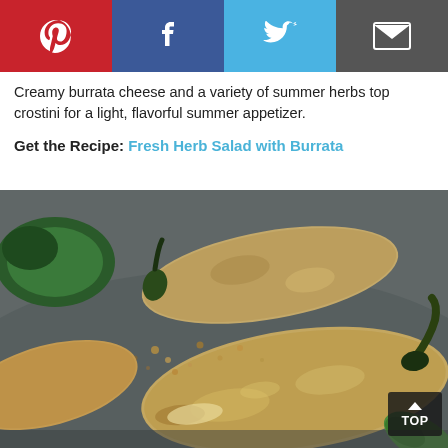[Figure (other): Social sharing bar with Pinterest, Facebook, Twitter, and Email buttons]
Creamy burrata cheese and a variety of summer herbs top crostini for a light, flavorful summer appetizer.
Get the Recipe: Fresh Herb Salad with Burrata
[Figure (photo): Close-up photo of breaded jalapeño poppers on a dark surface, showing crispy breadcrumb coating with a green stem visible]